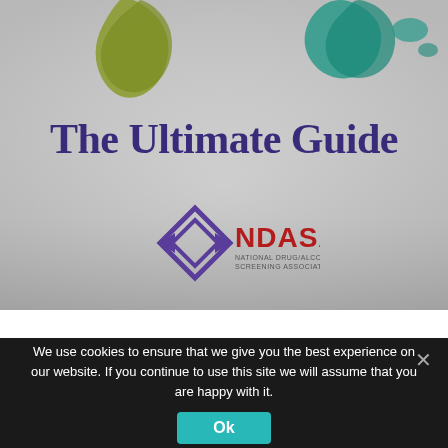[Figure (illustration): Cover page image with gray gradient background, colorized world map continent silhouettes (olive/yellow-green South America, teal/green for other continents visible at top), large bold purple serif title 'The Ultimate Guide', and the NDASA (National Drug/Alcohol Screening Association) logo below the title.]
The Ultimate Guide
NDASA - National Drug/Alcohol Screening Association
We use cookies to ensure that we give you the best experience on our website. If you continue to use this site we will assume that you are happy with it.